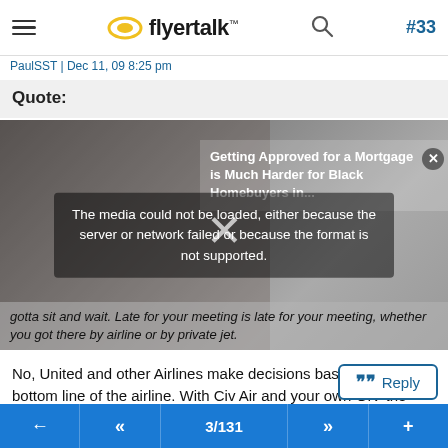flyertalk #33
PaulSST | Dec 11, 09 8:25 pm
Quote:
[Figure (screenshot): Media player overlay showing error message: 'The media could not be loaded, either because the server or network failed or because the format is not supported.' with an ad overlay reading 'Getting Approved for a Mortgage is Much Harder for Black Homebuyers in...' and a close X button. Italicized forum quote text visible beneath: '...gotta sit and wait. Late for your meeting is late for your meeting, whether you got there by airline or by private jet.']
No, United and other Airlines make decisions based on the bottom line of the airline. With Civ Air and your own GIV the airplane works around you, the customer. You are paying dearly for it, but that is customer service. ^
3/131